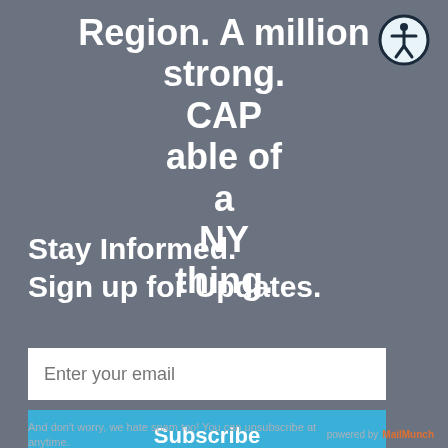Region. A million strong. CAPable of aNYthing.
[Figure (illustration): Accessibility icon: circle with a stylized human figure, dark border on white/light blue background]
Stay Informed. Sign up for Updates.
Enter your email
Subscribe
And don't worry, we hate spam too! You can unsubscribe at anytime.
powered by MailMunch